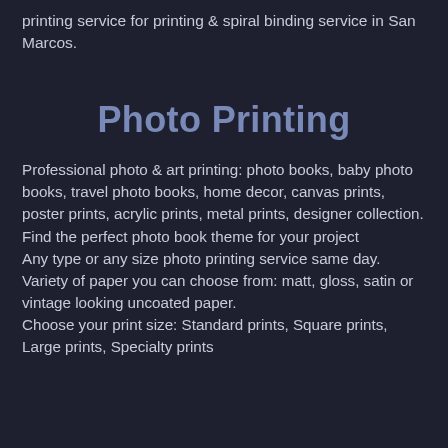printing service for printing & spiral binding service in San Marcos.
Photo Printing
Professional photo & art printing: photo books, baby photo books, travel photo books, home decor, canvas prints, poster prints, acrylic prints, metal prints, designer collection. Find the perfect photo book theme for your project
Any type or any size photo printing service same day. Variety of paper you can choose from: matt, gloss, satin or vintage looking uncoated paper.
Choose your print size: Standard prints, Square prints, Large prints, Specialty prints